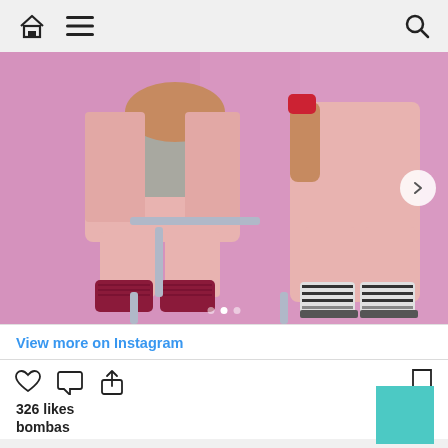Navigation bar with home, menu, and search icons
[Figure (photo): Two people wearing pink outfits and colorful socks seated on a chair against a pink background. One person wears dark red/maroon socks, the other wears black and white patterned socks.]
View more on Instagram
326 likes
bombas